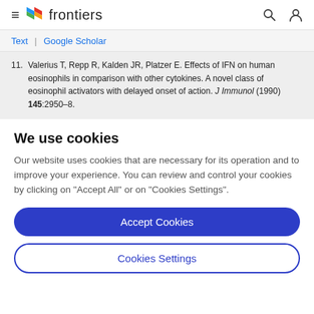frontiers
Text | Google Scholar
11. Valerius T, Repp R, Kalden JR, Platzer E. Effects of IFN on human eosinophils in comparison with other cytokines. A novel class of eosinophil activators with delayed onset of action. J Immunol (1990) 145:2950–8.
We use cookies
Our website uses cookies that are necessary for its operation and to improve your experience. You can review and control your cookies by clicking on "Accept All" or on "Cookies Settings".
Accept Cookies
Cookies Settings